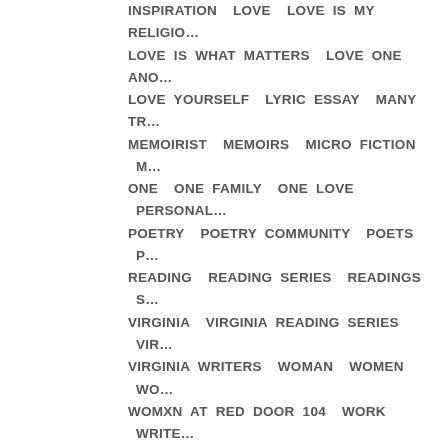INSPIRATION LOVE LOVE IS MY RELIGION LOVE IS WHAT MATTERS LOVE ONE ANOTHER LOVE YOURSELF LYRIC ESSAY MANY TRUTHS MEMOIRIST MEMOIRS MICRO FICTION MIDNIGHT ONE ONE FAMILY ONE LOVE PERSONAL ESSAY POETRY POETRY COMMUNITY POETS PROSE READING READING SERIES READINGS SHORT STORIES VIRGINIA VIRGINIA READING SERIES VIRGINIA VOICES VIRGINIA WRITERS WOMAN WOMEN WOMXN WOMXN AT RED DOOR 104 WORK WRITE WRITERS RESIST WRITERS' ACTIVISM WRITERS' COMMUNITY WRITERS' LIFE WRITING WRITING COMMUNITY WRITING LIFE WRITING OPPORTUNITIES WRITING-IN-THE-REAL-WORLD
TAG CLOUD
Writers  Poetry  Writing  Art  One Love  Poet